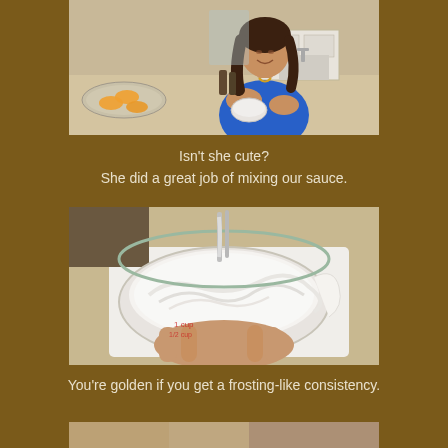[Figure (photo): A young woman with long dark hair wearing a blue top, smiling at camera while mixing something in a bowl in a kitchen. There is a plate with fruit visible to the left.]
Isn't she cute?
She did a great job of mixing our sauce.
[Figure (photo): Close-up of a clear glass measuring bowl held in a hand, filled with white creamy sauce being whipped or mixed, with a whisk visible.]
You're golden if you get a frosting-like consistency.
[Figure (photo): Partially visible photo at the bottom of the page.]